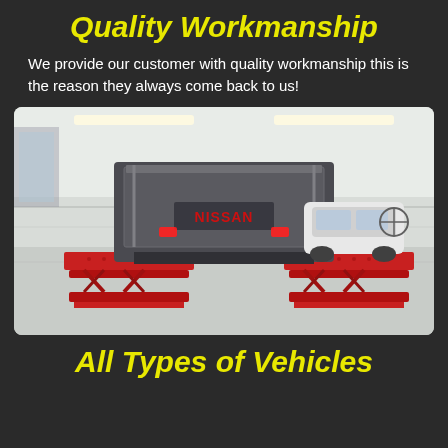Quality Workmanship
We provide our customer with quality workmanship this is the reason they always come back to us!
[Figure (photo): Auto repair shop interior showing a Nissan truck elevated on red scissor lifts with a white car in the background]
All Types of Vehicles